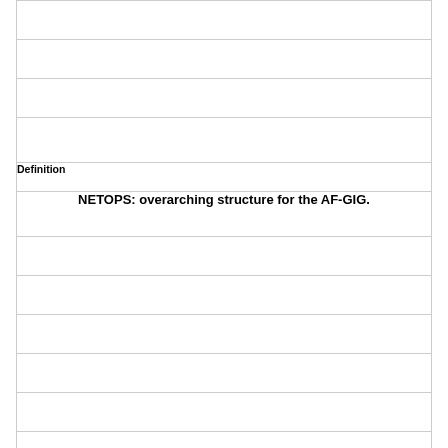| Definition |
| --- |
|  |
|  |
|  |
|  |
| NETOPS: overarching structure for the AF-GIG. |
|  |
|  |
|  |
|  |
|  |
|  |
| Term |
| --- |
| AFL 33-115v2 |